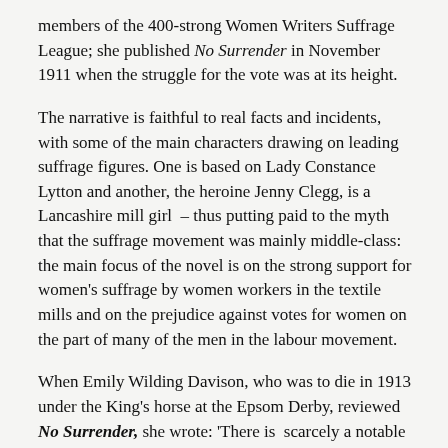members of the 400-strong Women Writers Suffrage League; she published No Surrender in November 1911 when the struggle for the vote was at its height.
The narrative is faithful to real facts and incidents, with some of the main characters drawing on leading suffrage figures. One is based on Lady Constance Lytton and another, the heroine Jenny Clegg, is a Lancashire mill girl – thus putting paid to the myth that the suffrage movement was mainly middle-class: the main focus of the novel is on the strong support for women's suffrage by women workers in the textile mills and on the prejudice against votes for women on the part of many of the men in the labour movement.
When Emily Wilding Davison, who was to die in 1913 under the King's horse at the Epsom Derby, reviewed No Surrender, she wrote: 'There is scarcely a notable incident of the militant campaign which is left untouched. As we devour its pages, we once more review such unforgettable events as the Pantechnicon